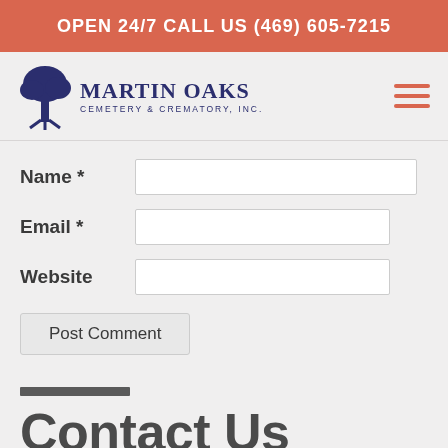OPEN 24/7 CALL US (469) 605-7215
[Figure (logo): Martin Oaks Cemetery & Crematory, Inc. logo with tree graphic and text]
Name *
Email *
Website
Post Comment
Contact Us